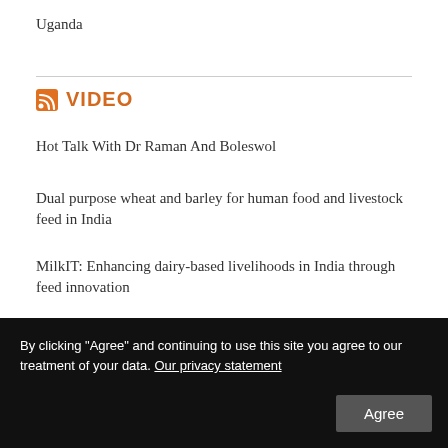Uganda
VIDEO
Hot Talk With Dr Raman And Boleswol
Dual purpose wheat and barley for human food and livestock feed in India
MilkIT: Enhancing dairy-based livelihoods in India through feed innovation
International livestock and one health research priorities: Perspectives from Southeast Asia
Living livestock research: Towards policies for people and pigs in
By clicking “Agree” and continuing to use this site you agree to our treatment of your data. Our privacy statement
Agree